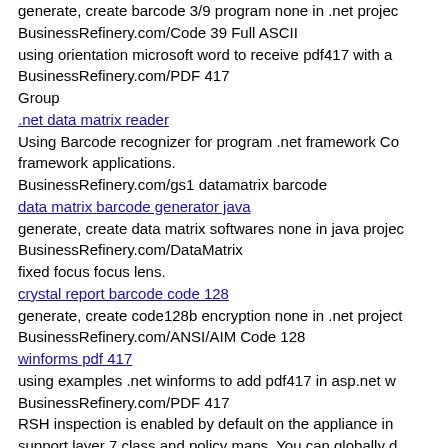generate, create barcode 3/9 program none in .net project
BusinessRefinery.com/Code 39 Full ASCII
using orientation microsoft word to receive pdf417 with a
BusinessRefinery.com/PDF 417
Group
.net data matrix reader
Using Barcode recognizer for program .net framework Co framework applications.
BusinessRefinery.com/gs1 datamatrix barcode
data matrix barcode generator java
generate, create data matrix softwares none in java proje
BusinessRefinery.com/DataMatrix
fixed focus focus lens.
crystal report barcode code 128
generate, create code128b encryption none in .net project
BusinessRefinery.com/ANSI/AIM Code 128
winforms pdf 417
using examples .net winforms to add pdf417 in asp.net w
BusinessRefinery.com/PDF 417
RSH inspection is enabled by default on the appliance in support layer 7 class and policy maps. You can globally d interface-by-interface basis by using the following comm
crystal report barcode code 128
using windows visual .net to develop barcode standards 1
BusinessRefinery.com/code 128c